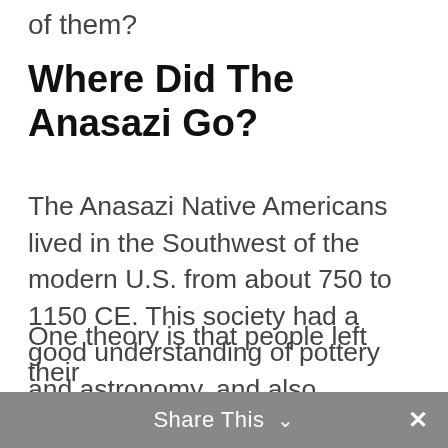of them?
Where Did The Anasazi Go?
The Anasazi Native Americans lived in the Southwest of the modern U.S. from about 750 to 1150 CE. This society had a good understanding of pottery and astronomy, and also developed complex systems of irrigation. Before its disappearance, the Anasazi had cities and a substantial population. Despite these accomplishments, their society suddenly disappeared. This occurred as a result of a massive exodus where people left for no apparent reason.
One theory is that people left their
Share This ×